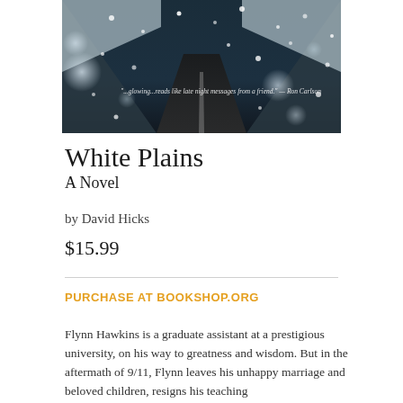[Figure (photo): Book cover of 'White Plains' showing a snowy road at night viewed from above, with bokeh snowflake effects. A quote reads: '...glowing...reads like late night messages from a friend.' — Ron Carlson]
White Plains
A Novel
by David Hicks
$15.99
PURCHASE AT BOOKSHOP.ORG
Flynn Hawkins is a graduate assistant at a prestigious university, on his way to greatness and wisdom. But in the aftermath of 9/11, Flynn leaves his unhappy marriage and beloved children, resigns his teaching